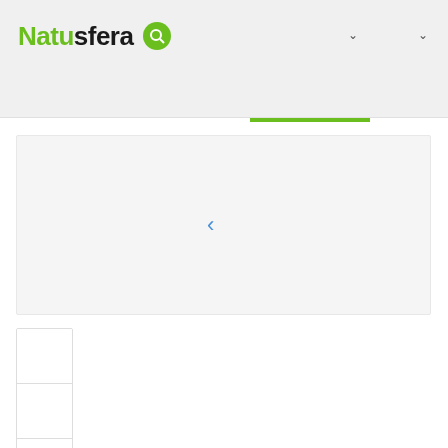Natusfera
[Figure (screenshot): Natusfera website header with green logo text, search icon, and navigation dropdown arrows on a light gray background]
[Figure (screenshot): Main content slider area with a light gray background and a blue left-arrow navigation chevron in the center]
[Figure (screenshot): Three small thumbnail image placeholders stacked vertically in a column on the left side]